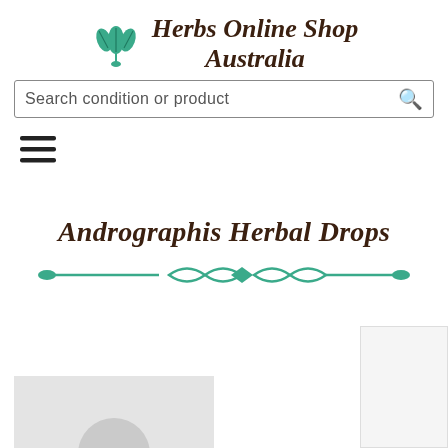Herbs Online Shop Australia
Search condition or product
[Figure (illustration): Hamburger menu icon (three horizontal lines)]
Andrographis Herbal Drops
[Figure (illustration): Decorative teal horizontal divider with ornamental diamond and leaf shapes]
[Figure (photo): Partial product image area at bottom left, grey placeholder]
[Figure (other): Partial white/grey box at bottom right corner]